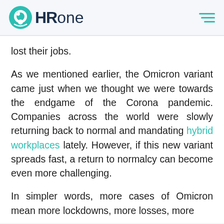HR One
lost their jobs.
As we mentioned earlier, the Omicron variant came just when we thought we were towards the endgame of the Corona pandemic. Companies across the world were slowly returning back to normal and mandating hybrid workplaces lately. However, if this new variant spreads fast, a return to normalcy can become even more challenging.
In simpler words, more cases of Omicron mean more lockdowns, more losses, more